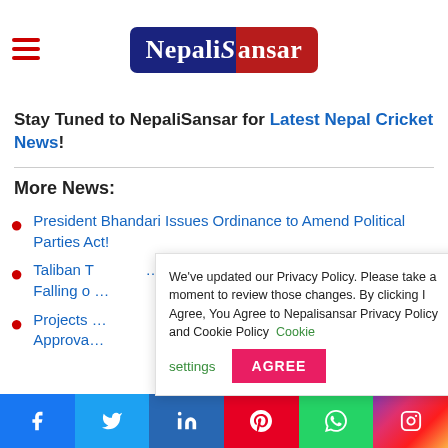NepaliSansar
Stay Tuned to NepaliSansar for Latest Nepal Cricket News!
More News:
President Bhandari Issues Ordinance to Amend Political Parties Act!
Taliban T...  Falling o...
Projects ... Approva...
We've updated our Privacy Policy. Please take a moment to review those changes. By clicking I Agree, You Agree to Nepalisansar Privacy Policy and Cookie Policy  Cookie settings  AGREE
Facebook Twitter LinkedIn Pinterest WhatsApp Instagram